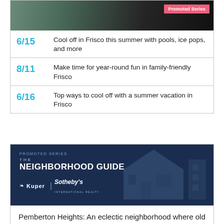[Figure (photo): Photo of people in background with Promoted Series badge in pink]
6/15  Cool off in Frisco this summer with pools, ice pops, and more
8/11  Make time for year-round fun in family-friendly Frisco
6/16  Top ways to cool off with a summer vacation in Frisco
[Figure (illustration): Dark navy promotional banner reading PROMOTED SERIES / THE / NEIGHBORHOOD GUIDE with Kuper Sotheby's International Realty logo and house silhouette]
Pemberton Heights: An eclectic neighborhood where old meets new